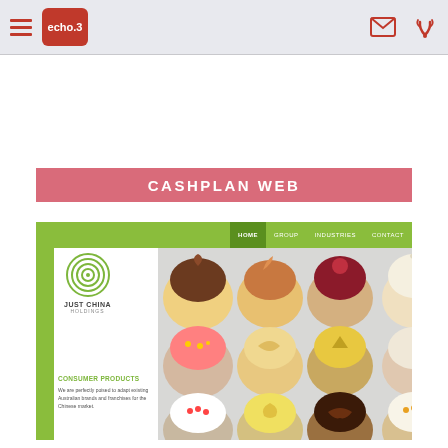echo.3 navigation header with hamburger menu, logo, mail and phone icons
CASHPLAN WEB
[Figure (screenshot): Screenshot of Just China Holdings website showing green navigation bar with HOME, GROUP, INDUSTRIES, CONTACT links, Just China Holdings circular logo, and a photo of assorted cupcakes with text 'CONSUMER PRODUCTS - We are perfectly poised to adapt existing Australian brands and franchises for the Chinese market.']